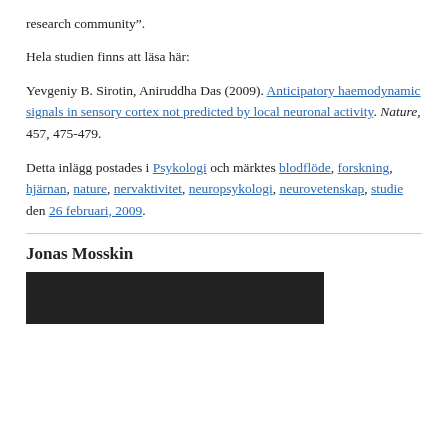research community".
Hela studien finns att läsa här:
Yevgeniy B. Sirotin, Aniruddha Das (2009). Anticipatory haemodynamic signals in sensory cortex not predicted by local neuronal activity. Nature, 457, 475-479.
Detta inlägg postades i Psykologi och märktes blodflöde, forskning, hjärnan, nature, nervaktivitet, neuropsykologi, neurovetenskap, studie den 26 februari, 2009.
Jonas Mosskin
[Figure (photo): Dark photo, partially visible at the bottom of the page]